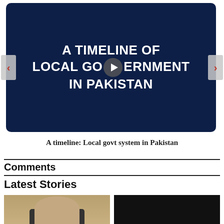[Figure (screenshot): Video slideshow thumbnail with dark navy blue background, large white bold uppercase text reading 'A TIMELINE OF LOCAL GOVERNMENT IN PAKISTAN', a circular play button in the center, and left/right navigation arrows on either side.]
A timeline: Local govt system in Pakistan
Comments
Latest Stories
[Figure (photo): Photo of a man in a suit, partial view, brownish/warm background tone.]
[Figure (photo): Dark/black image, second story thumbnail.]